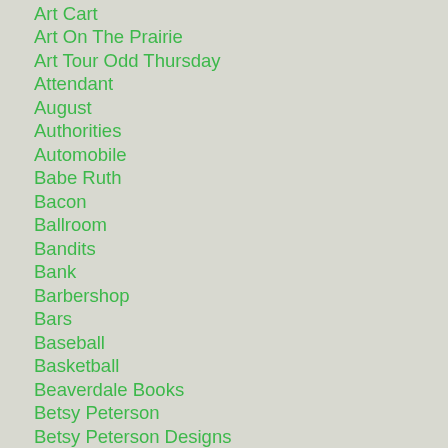Art Cart
Art On The Prairie
Art Tour Odd Thursday
Attendant
August
Authorities
Automobile
Babe Ruth
Bacon
Ballroom
Bandits
Bank
Barbershop
Bars
Baseball
Basketball
Beaverdale Books
Betsy Peterson
Betsy Peterson Designs
Bike Trail
Bill Clark
Bill Wagner